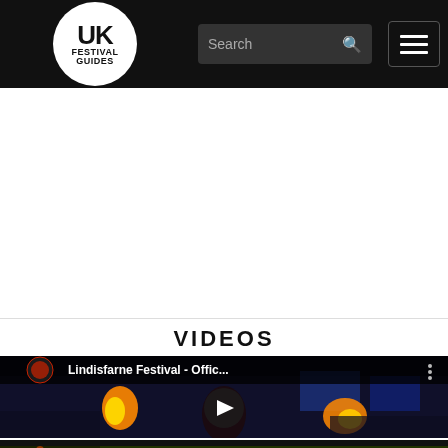UK Festival Guides
VIDEOS
[Figure (screenshot): YouTube video thumbnail: Lindisfarne Festival - Offic... showing fire performers at night festival crowd]
[Figure (screenshot): Second video thumbnail partially visible at bottom]